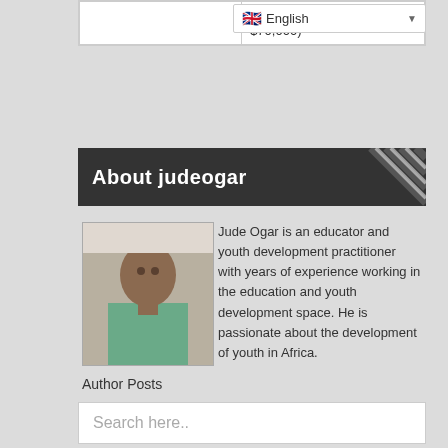| (st...
$70,000) |
About judeogar
[Figure (photo): Profile photo of Jude Ogar, a man wearing a green shirt]
Jude Ogar is an educator and youth development practitioner with years of experience working in the education and youth development space. He is passionate about the development of youth in Africa.
Author Posts
Search here..